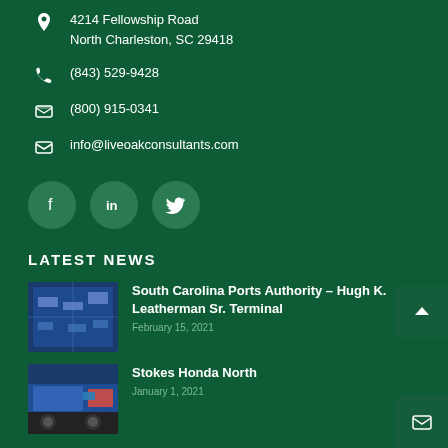4214 Fellowship Road
North Charleston, SC 29418
(843) 529-9428
(800) 915-0341
info@liveoakconsultants.com
[Figure (illustration): Social media icons: Facebook, LinkedIn, Twitter in circular buttons]
LATEST NEWS
South Carolina Ports Authority – Hugh K. Leatherman Sr. Terminal
February 15, 2021
Stokes Honda North
January 1, 2021